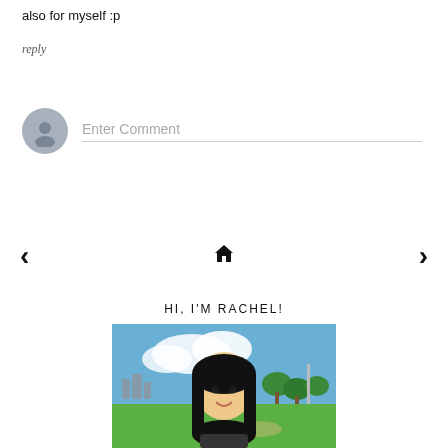also for myself :p
reply
[Figure (screenshot): Comment input area with gray avatar circle and 'Enter Comment' placeholder text with underline]
[Figure (other): Navigation bar with left arrow, home icon, and right arrow]
HI, I'M RACHEL!
[Figure (photo): Photo of a young Asian woman smiling outdoors with trees and city skyline in background, green grass in foreground]